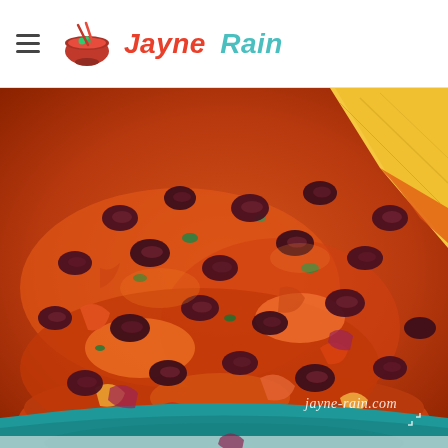Jayne Rain - food blog header with logo
[Figure (photo): Close-up photo of a bean chili dish in a teal/turquoise bowl with kidney beans in a rich tomato sauce, with a tortilla chip dipping in. Watermark reads jayne-rain.com]